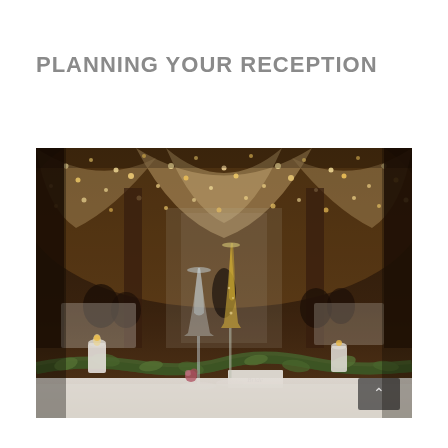PLANNING YOUR RECEPTION
[Figure (photo): A decorated wedding reception hall with warm string lights draped across the ceiling, white fabric swags, greenery garlands on the head table, champagne flutes in the foreground, candles, and guests seated in the background.]